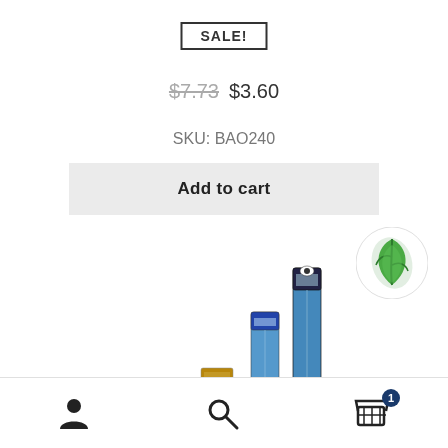SALE!
$7.73  $3.60
SKU: BAO240
Add to cart
[Figure (photo): Product photo showing fluorescent tube lights of different sizes packaged in retail packaging, displayed vertically]
[Figure (logo): Round white circle with green leaf logo icon]
User icon | Search icon | Cart icon with badge 1